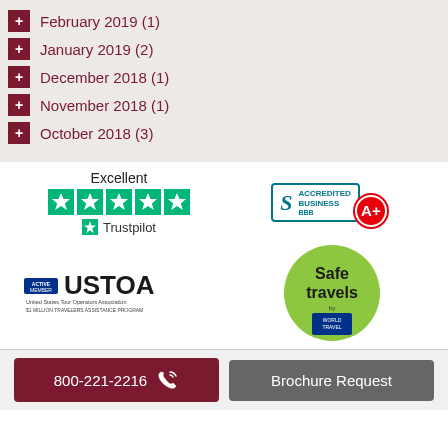+ February 2019 (1)
+ January 2019 (2)
+ December 2018 (1)
+ November 2018 (1)
+ October 2018 (3)
[Figure (logo): Trustpilot Excellent rating with 5 green stars and Trustpilot logo]
[Figure (logo): BBB Accredited Business A+ badge]
[Figure (logo): USTOA Active Member - United States Tour Operators Association logo]
[Figure (logo): Safe Travels by World Travel badge (green circle)]
800-221-2216
Brochure Request